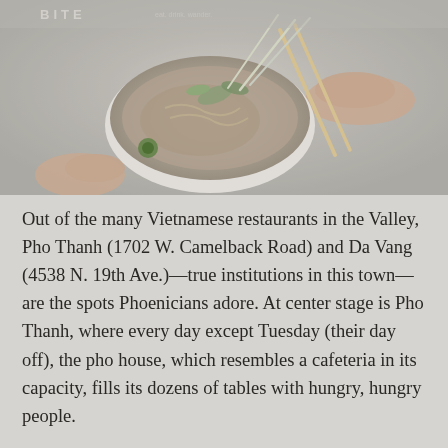[Figure (photo): Overhead photo of a bowl of Vietnamese pho with chopsticks and a spoon, hands visible holding them, with bean sprouts and herbs on the side. Gray-toned editorial food photography.]
Out of the many Vietnamese restaurants in the Valley, Pho Thanh (1702 W. Camelback Road) and Da Vang (4538 N. 19th Ave.)—true institutions in this town—are the spots Phoenicians adore. At center stage is Pho Thanh, where every day except Tuesday (their day off), the pho house, which resembles a cafeteria in its capacity, fills its dozens of tables with hungry, hungry people.